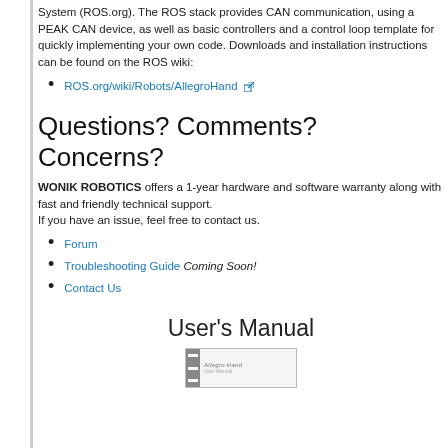System (ROS.org). The ROS stack provides CAN communication, using a PEAK CAN device, as well as basic controllers and a control loop template for quickly implementing your own code. Downloads and installation instructions can be found on the ROS wiki:
ROS.org/wiki/Robots/AllegroHand
Questions? Comments? Concerns?
WONIK ROBOTICS offers a 1-year hardware and software warranty along with fast and friendly technical support.
If you have an issue, feel free to contact us.
Forum
Troubleshooting Guide Coming Soon!
Contact Us
User's Manual
[Figure (photo): Thumbnail image of the Allegro Hand User's Manual document cover]